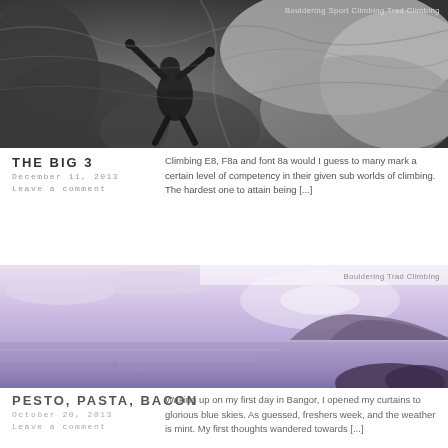[Figure (photo): Black and white photo of a rock climber on an overhanging rock face]
THE BIG 3
December 11, 2013
Leave a comment
Climbing E8, F8a and font 8a would I guess to many mark a certain level of competency in their given sub worlds of climbing. The hardest one to attain being [...]
[Figure (photo): Coastal landscape photo with purple/lavender tones showing sea, sky and rocky headland]
PESTO, PASTA, BACON
October 20, 2013
Leave a comment
Waking up on my first day in Bangor, I opened my curtains to glorious blue skies. As guessed, freshers week, and the weather is mint. My first thoughts wandered towards [...]